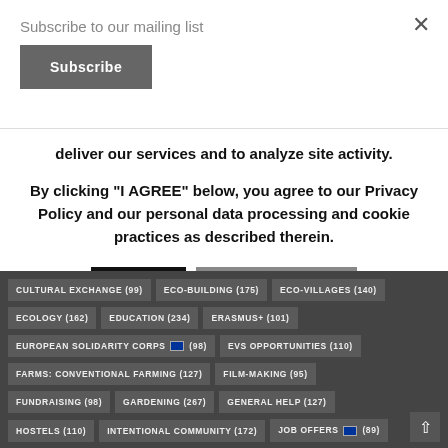Subscribe to our mailing list
Subscribe
deliver our services and to analyze site activity.
By clicking "I AGREE" below, you agree to our Privacy Policy and our personal data processing and cookie practices as described therein.
I agree
Privacy Policy page
CULTURAL EXCHANGE (99)
ECO-BUILDING (175)
ECO-VILLAGES (140)
ECOLOGY (162)
EDUCATION (234)
ERASMUS+ (101)
EUROPEAN SOLIDARITY CORPS (98)
EVS OPPORTUNITIES (110)
FARMS: CONVENTIONAL FARMING (127)
FILM-MAKING (95)
FUNDRAISING (98)
GARDENING (267)
GENERAL HELP (127)
HOSTELS (110)
INTENTIONAL COMMUNITY (172)
JOB OFFERS (89)